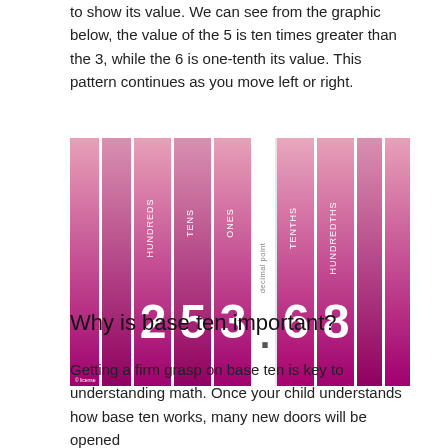to show its value. We can see from the graphic below, the value of the 5 is ten times greater than the 3, while the 6 is one-tenth its value. This pattern continues as you move left or right.
[Figure (infographic): Place value chart showing columns: HUNDREDS, TENS, ONES, decimal point, TENTHS, HUNDREDTHS (plus unlabeled columns on each side). The number 253.68 is displayed across the labeled columns, with each column shown as a pink-to-magenta gradient vertical bar. The labeled columns show the words vertically. The decimal point column is white/light.]
Why is base ten important?
Getting a firm grasp on base ten is key to understanding math. Once your child understands how base ten works, many new doors will be opened